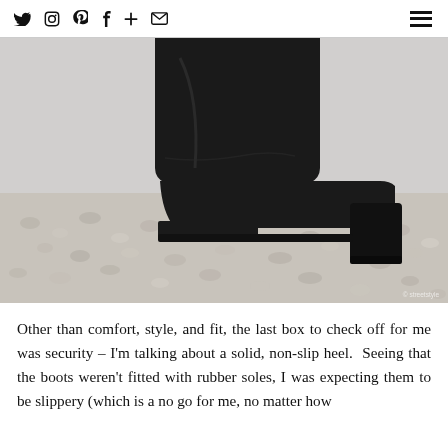social icons: twitter, instagram, pinterest, facebook, plus, email | hamburger menu
[Figure (photo): Close-up photograph of a black leather ankle boot with a block heel, standing on a gravel/pebble surface. The boot has a square toe and mid-height chunky heel.]
Other than comfort, style, and fit, the last box to check off for me was security – I'm talking about a solid, non-slip heel.  Seeing that the boots weren't fitted with rubber soles, I was expecting them to be slippery (which is a no go for me, no matter how